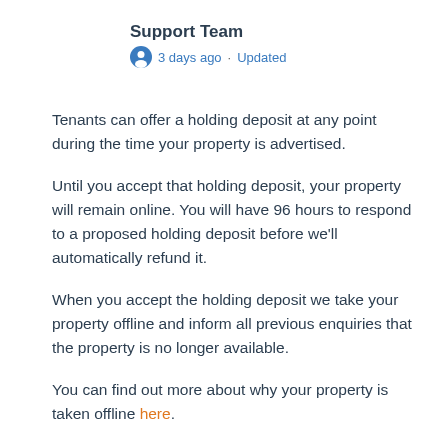Support Team
3 days ago · Updated
Tenants can offer a holding deposit at any point during the time your property is advertised.
Until you accept that holding deposit, your property will remain online. You will have 96 hours to respond to a proposed holding deposit before we'll automatically refund it.
When you accept the holding deposit we take your property offline and inform all previous enquiries that the property is no longer available.
You can find out more about why your property is taken offline here.
There's no need to get back in touch with tenants to cancel viewings - we do this for you by informing them the property